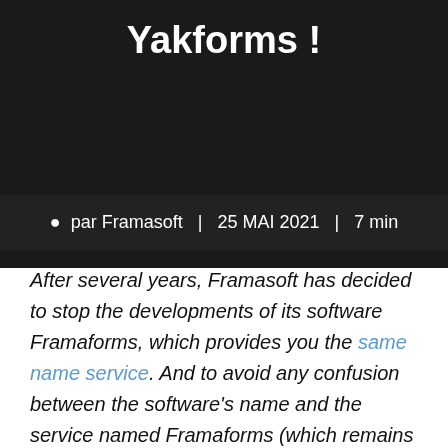Yakforms !
par Framasoft | 25 MAI 2021 | 7 min
After several years, Framasoft has decided to stop the developments of its software Framaforms, which provides you the same name service. And to avoid any confusion between the software's name and the service named Framaforms (which remains open, don't worry), we have decided to give it a new name : Yakforms. Let's see what motivated